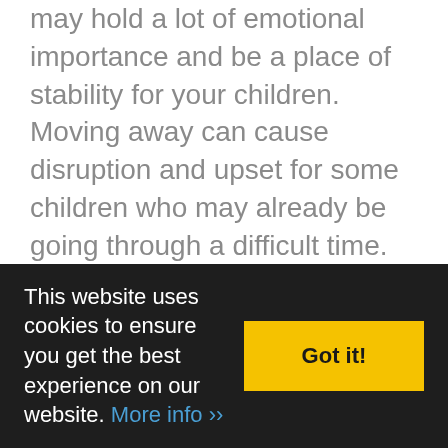may hold a lot of emotional importance and be a place of stability for your children. Moving away can cause disruption and upset for some children who may already be going through a difficult time.
Whilst this won't be the only factor considered, it's certainly an important one. Issues such as where the children go to school will also be factored in, as well as each parents ability to rehouse themselves.
It can be found for all disputed and...
This website uses cookies to ensure you get the best experience on our website. More info »